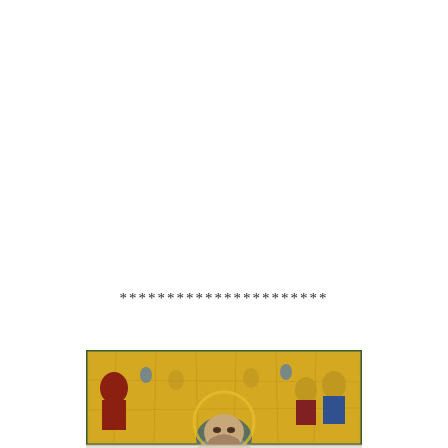**********************
[Figure (illustration): A horizontal band showing a fragment of a Byzantine-style icon painting with gold background, featuring a figure (face partially visible at bottom) with surrounding figures or saints depicted in red, blue, and gold tones. The image appears cracked suggesting an old panel painting. Below is a faded reflection of the icon image.]